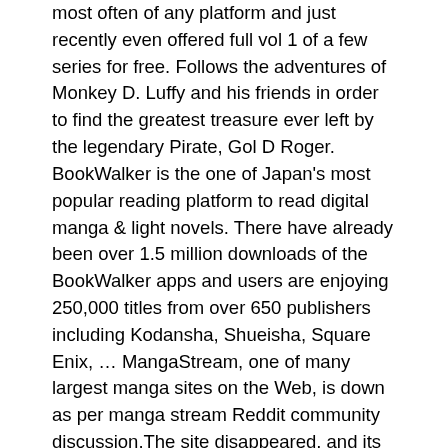most often of any platform and just recently even offered full vol 1 of a few series for free. Follows the adventures of Monkey D. Luffy and his friends in order to find the greatest treasure ever left by the legendary Pirate, Gol D Roger. BookWalker is the one of Japan's most popular reading platform to read digital manga & light novels. There have already been over 1.5 million downloads of the BookWalker apps and users are enjoying 250,000 titles from over 650 publishers including Kodansha, Shueisha, Square Enix, … MangaStream, one of many largest manga sites on the Web, is down as per manga stream Reddit community discussion.The site disappeared, and its official Twitter account was … Is anyone using BookWalker? *This is a bonus item for "Under One Roof With the Beast (Yaoi Manga), Volume 1" manga eBook NOT the chapter eBooks. BookWalker is the only store that is actually 100% owned by a Japanese publishing company, KADOKAWA. Manga has amazing art style and exciting storytelling. *A link to download the